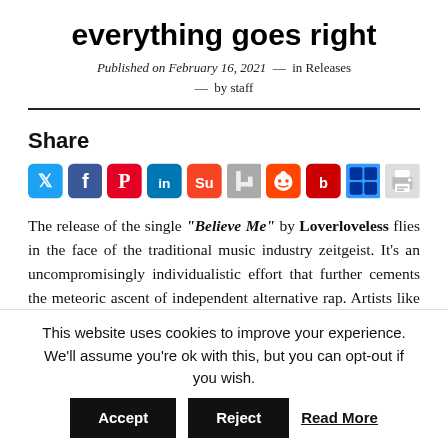everything goes right
Published on February 16, 2021 — in Releases — by staff
[Figure (infographic): Social share buttons row: Twitter, Facebook, Pinterest, LinkedIn, StumbleUpon, Digg, Reddit, Bebo, Delicious, Print]
The release of the single “Believe Me” by Loverloveless flies in the face of the traditional music industry zeitgeist. It’s an uncompromisingly individualistic effort that further cements the meteoric ascent of independent alternative rap. Artists like this seek to us devoid of concrete
This website uses cookies to improve your experience. We'll assume you're ok with this, but you can opt-out if you wish. Accept Reject Read More